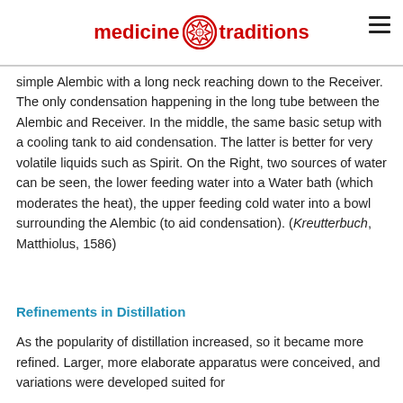medicine traditions
simple Alembic with a long neck reaching down to the Receiver. The only condensation happening in the long tube between the Alembic and Receiver. In the middle, the same basic setup with a cooling tank to aid condensation. The latter is better for very volatile liquids such as Spirit. On the Right, two sources of water can be seen, the lower feeding water into a Water bath (which moderates the heat), the upper feeding cold water into a bowl surrounding the Alembic (to aid condensation). (Kreutterbuch, Matthiolus, 1586)
Refinements in Distillation
As the popularity of distillation increased, so it became more refined. Larger, more elaborate apparatus were conceived, and variations were developed suited for